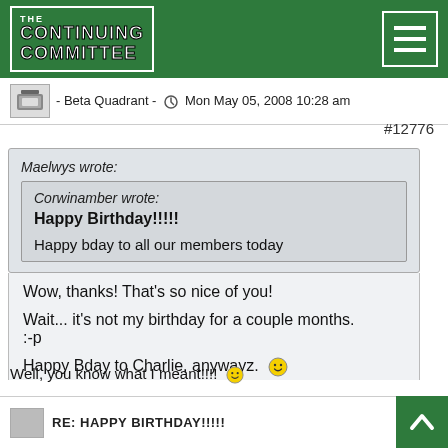THE CONTINUING COMMITTEE
- Beta Quadrant - Mon May 05, 2008 10:28 am
#12776
Maelwys wrote: Corwinamber wrote: Happy Birthday!!!!! Happy bday to all our members today
Wow, thanks! That's so nice of you!

Wait... it's not my birthday for a couple months.
:-p

Happy Bday to Charlie, anywayz. :)
Well, you know what I meant!!!! :)
RE: HAPPY BIRTHDAY!!!!!